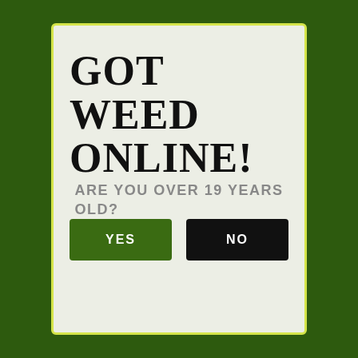GOT WEED ONLINE!
ARE YOU OVER 19 YEARS OLD?
YES
NO